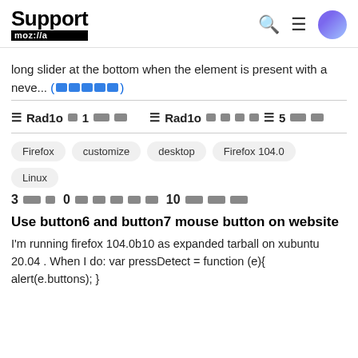Support mozilla
long slider at the bottom when the element is present with a neve... (redacted link)
Radio 1 [redacted] Radio [redacted] 5 [redacted]
Firefox  customize  desktop  Firefox 104.0  Linux
3 [redacted] 0 [redacted] 10 [redacted]
Use button6 and button7 mouse button on website
I'm running firefox 104.0b10 as expanded tarball on xubuntu 20.04 . When I do: var pressDetect = function (e){ alert(e.buttons); }